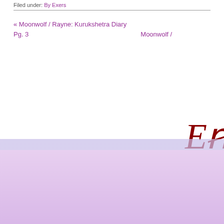Filed under: By Exers
« Moonwolf / Rayne: Kurukshetra Diary Pg. 3   Moonwolf /
[Figure (illustration): Decorative cursive logo text in dark red/maroon, partially visible, appears to be a stylized 'E' or logo mark in italic script]